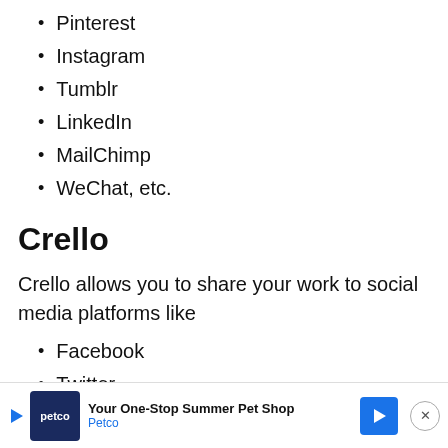Pinterest
Instagram
Tumblr
LinkedIn
MailChimp
WeChat, etc.
Crello
Crello allows you to share your work to social media platforms like
Facebook
Twitter
LinkedIn